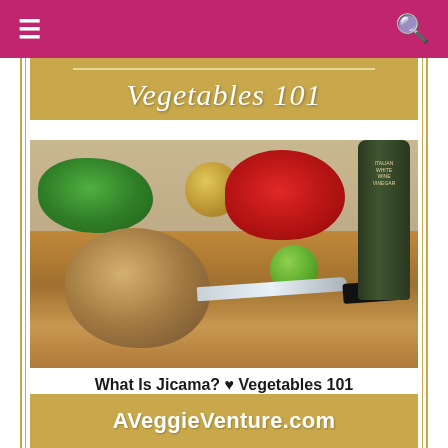≡  [navigation bar]  🔍
Vegetables 101
[Figure (photo): A jicama root vegetable on a wooden cutting board, surrounded by radishes, fresh herbs, an onion, a lime, a chef's knife, and a bottle of Italian white wine vinegar.]
What Is Jicama? ♥ Vegetables 101
AVeggieVenture.com